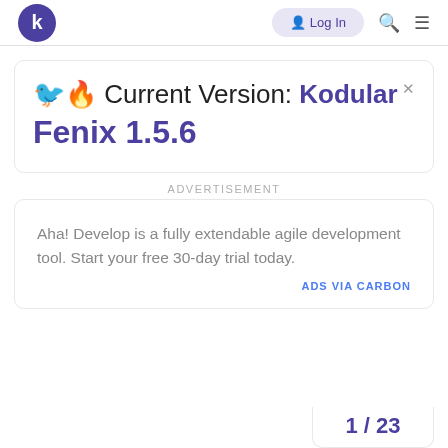k  Log In  🔍  ☰
🐦🔥 Current Version: Kodular Fenix 1.5.6
ADVERTISEMENT
Aha! Develop is a fully extendable agile development tool. Start your free 30-day trial today.
ADS VIA CARBON
1 / 23